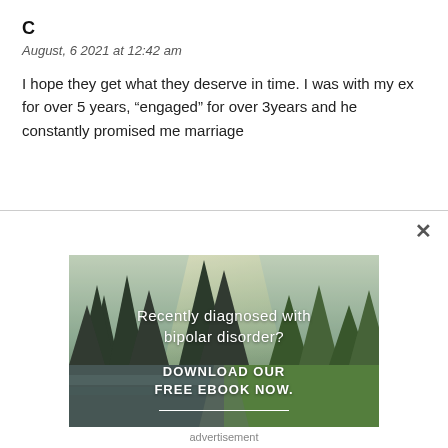C
August, 6 2021 at 12:42 am
I hope they get what they deserve in time. I was with my ex for over 5 years, “engaged” for over 3years and he constantly promised me marriage
[Figure (photo): Advertisement banner showing a forest/nature scene with a river and trees, overlaid with text: 'Recently diagnosed with bipolar disorder? DOWNLOAD OUR FREE EBOOK NOW.' with a white underline.]
advertisement